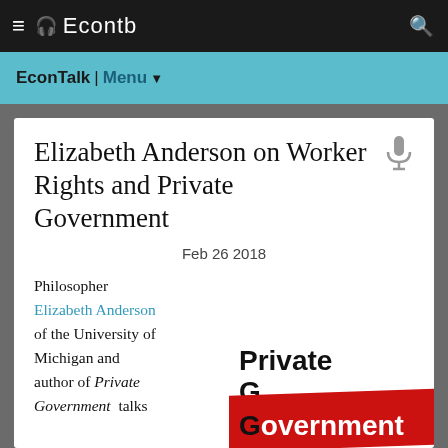Econtb
EconTalk | Menu
Elizabeth Anderson on Worker Rights and Private Government
Feb 26 2018
Philosopher Elizabeth Anderson of the University of Michigan and author of Private Government talks
[Figure (illustration): Book cover of 'Private Government' with bold black text on white background and a red diagonal banner across the lower portion showing 'Government' in white text]